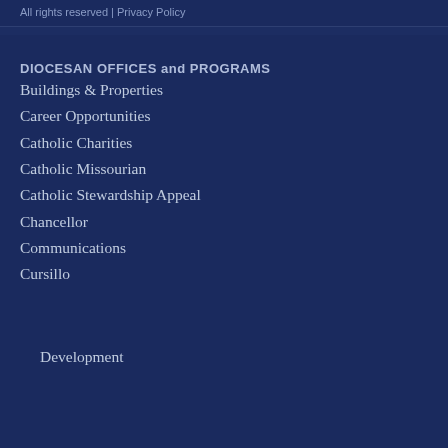All rights reserved | Privacy Policy
DIOCESAN OFFICES and PROGRAMS
Buildings & Properties
Career Opportunities
Catholic Charities
Catholic Missourian
Catholic Stewardship Appeal
Chancellor
Communications
Cursillo
Development